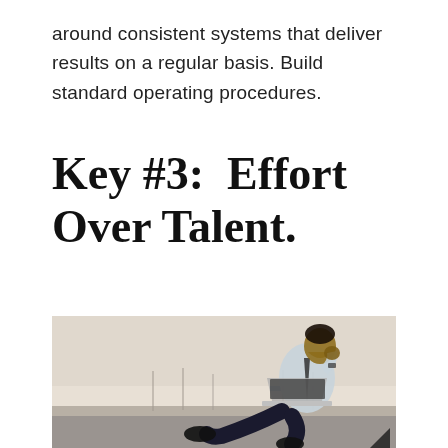around consistent systems that deliver results on a regular basis. Build standard operating procedures.
Key #3:  Effort Over Talent.
[Figure (photo): A young man in a dress shirt and tie sitting on the ground outdoors, working on a laptop, looking thoughtfully to the side. The background is a blurred outdoor scene with a hazy sky.]